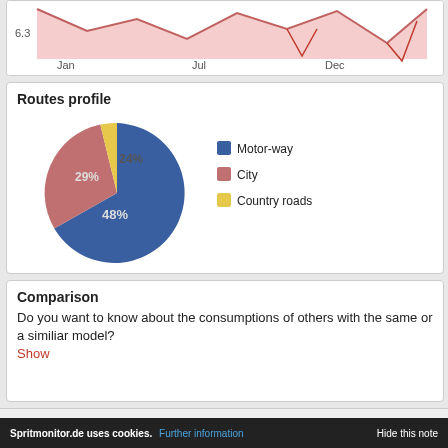[Figure (line-chart): Top portion of a line/area chart showing values around 6.3 with x-axis labels Jan, Jul, Dec]
Routes profile
[Figure (pie-chart): Routes profile]
Comparison
Do you want to know about the consumptions of others with the same or a similiar model?
Show
Terms of use | Data Protection Statement | Imprint
spritmonitor.de is a service provided by Fisch und Fischl GmbH. Copyright © 2001 - 2022 Fisch und Fischl
Spritmonitor.de uses cookies. Further information  Hide this note